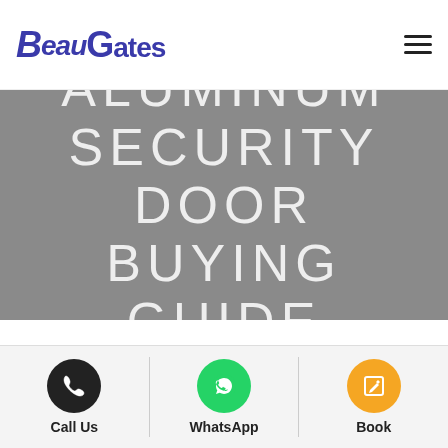BeauGates
ALUMINUM SECURITY DOOR BUYING GUIDE
In today's modern era, adorning the exterior of a house to
Call Us | WhatsApp | Book